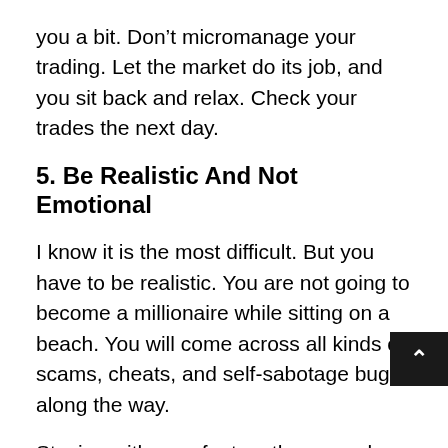you a bit. Don’t micromanage your trading. Let the market do its job, and you sit back and relax. Check your trades the next day.
5. Be Realistic And Not Emotional
I know it is the most difficult. But you have to be realistic. You are not going to become a millionaire while sitting on a beach. You will come across all kinds of scams, cheats, and self-sabotage bugs along the way.
Staying with your feet on the ground and being realistic will help you stay on the right track. you start trading greedily, instead of winning, you will lose your money.